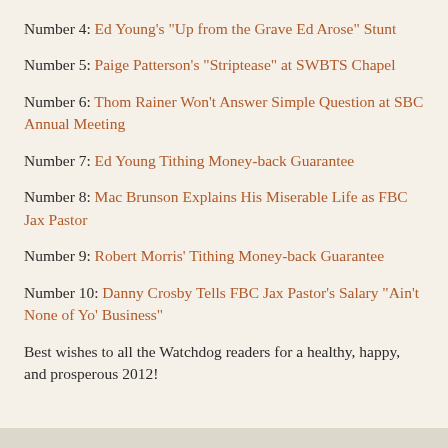Number 4: Ed Young's "Up from the Grave Ed Arose" Stunt
Number 5: Paige Patterson's "Striptease" at SWBTS Chapel
Number 6: Thom Rainer Won't Answer Simple Question at SBC Annual Meeting
Number 7: Ed Young Tithing Money-back Guarantee
Number 8: Mac Brunson Explains His Miserable Life as FBC Jax Pastor
Number 9: Robert Morris' Tithing Money-back Guarantee
Number 10: Danny Crosby Tells FBC Jax Pastor's Salary "Ain't None of Yo' Business"
Best wishes to all the Watchdog readers for a healthy, happy, and prosperous 2012!